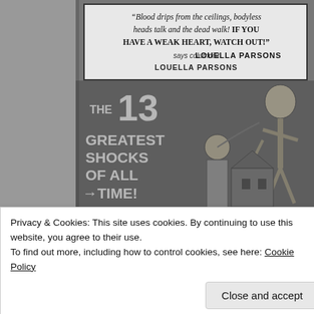[Figure (photo): Black and white vintage horror movie advertisement poster. Shows a quote in a bordered box at top: '"Blood drips from the ceilings, bodyless heads talk and the dead walk! IF YOU HAVE A WEAK HEART, WATCH OUT!" says columnist LOUELLA PARSONS'. Below that, large bold white text reads 'THE 13 GREATEST SHOCKS OF ALL TIME!' on the left side. A skeleton figure and a decapitated woman are illustrated against a dark stormy background with a haunted house.]
Privacy & Cookies: This site uses cookies. By continuing to use this website, you agree to their use.
To find out more, including how to control cookies, see here: Cookie Policy
[Figure (photo): Bottom strip of another vintage horror advertisement image, partially visible. Text reads 'See it with']